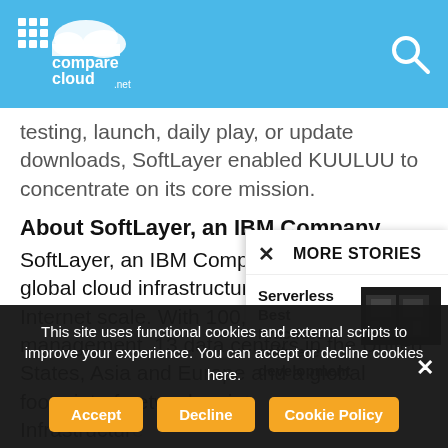comparecloud.net — header navigation bar with logo and search icon
testing, launch, daily play, or update downloads, SoftLayer enabled KUULUU to concentrate on its core mission.
About SoftLayer, an IBM Company
SoftLayer, an IBM Company, operates a global cloud infrastructure platform built for Internet scale. With 100,000 devices under management, 13 data centers in the United States, Asia and Europe and a global footprint of network points of presence... Infrastructure... ranging from... SoftLayer's m...
MORE STORIES
Serverless Best Practices in software development
This site uses functional cookies and external scripts to improve your experience. You can accept or decline cookies here.
Accept  Decline  Cookie Policy